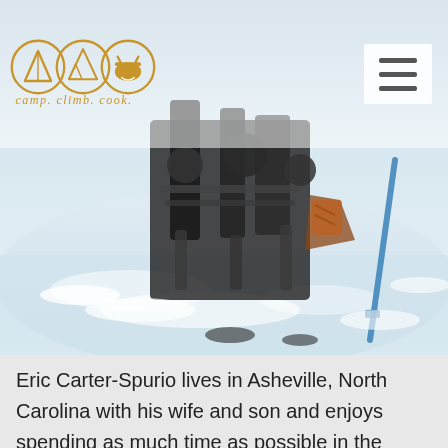camp. climb. cook.
[Figure (photo): Close-up photo of a person's feet/boots in snow, possibly snowshoeing or ice fishing, with snow on the ground and outdoor gear visible.]
Eric Carter-Spurio lives in Asheville, North Carolina with his wife and son and enjoys spending as much time as possible in the outdoors. He absolutely loves fly fishing for trout all over the country and that has